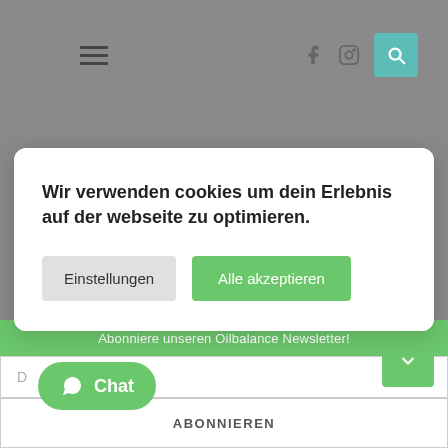[Figure (screenshot): Website navigation bar with hamburger menu icon, Facebook icon, Instagram icon, and teal search button on gray background]
Wir verwenden cookies um dein Erlebnis auf der webseite zu optimieren.
Einstellungen
Alle akzeptieren
[Figure (photo): Partial food photo showing bowls with dairy/cream content on marble surface]
Abonniere unseren Oilbalance Newsletter!
D
ABONNIEREN
Chat